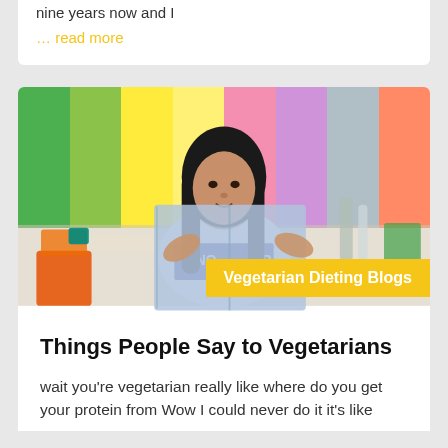nine years now and I
… read more
[Figure (photo): A woman sitting at a table holding a large open book/folder, with colorful vertical stripes in the background. A yellow banner overlay reads 'Vegetarian Dieting Blogs'.]
Things People Say to Vegetarians
wait you're vegetarian really like where do you get your protein from Wow I could never do it it's like